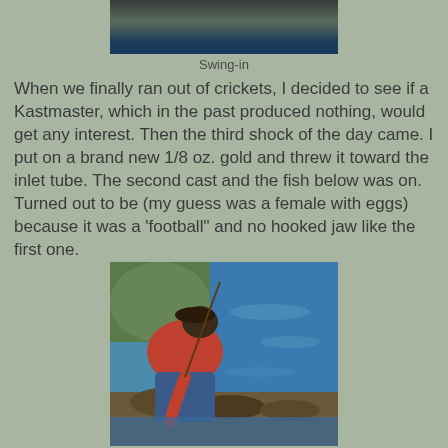[Figure (photo): Top portion of a fishing scene photo, partially cropped, showing ground/water area]
Swing-in
When we finally ran out of crickets, I decided to see if a Kastmaster, which in the past produced nothing, would get any interest. Then the third shock of the day came. I put on a brand new 1/8 oz. gold and threw it toward the inlet tube. The second cast and the fish below was on. Turned out to be (my guess was a female with eggs) because it was a 'football" and no hooked jaw like the first one.
[Figure (photo): Person in red shirt and jeans bending over rocks at the water's edge, appearing to handle a fish near a blue water body with green vegetation]